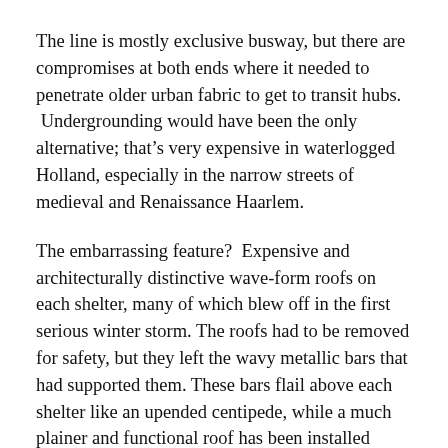The line is mostly exclusive busway, but there are compromises at both ends where it needed to penetrate older urban fabric to get to transit hubs. Undergrounding would have been the only alternative; that's very expensive in waterlogged Holland, especially in the narrow streets of medieval and Renaissance Haarlem.
The embarrassing feature? Expensive and architecturally distinctive wave-form roofs on each shelter, many of which blew off in the first serious winter storm. The roofs had to be removed for safety, but they left the wavy metallic bars that had supported them. These bars flail above each shelter like an upended centipede, while a much plainer and functional roof has been installed beneath them.